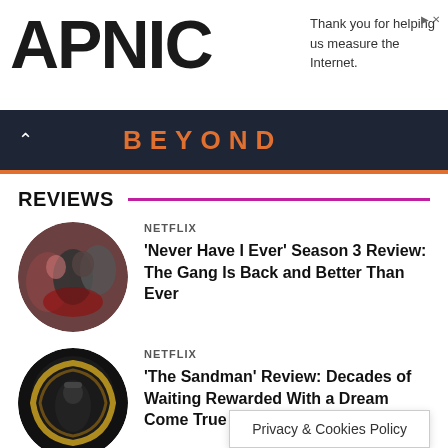APNIC — Thank you for helping us measure the Internet.
BEYOND
REVIEWS
NETFLIX
'Never Have I Ever' Season 3 Review: The Gang Is Back and Better Than Ever
[Figure (photo): Circular thumbnail showing cast members of Never Have I Ever smiling together]
NETFLIX
'The Sandman' Review: Decades of Waiting Rewarded With a Dream Come True [Spoiler-Free]
[Figure (photo): Circular thumbnail showing The Sandman movie poster with a dark figure in golden ornate frame]
Privacy & Cookies Policy